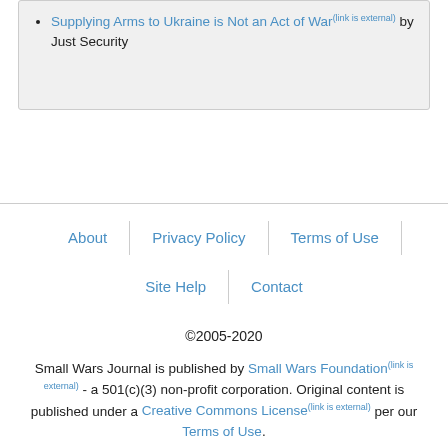Supplying Arms to Ukraine is Not an Act of War (link is external) by Just Security
About | Privacy Policy | Terms of Use | Site Help | Contact
©2005-2020
Small Wars Journal is published by Small Wars Foundation (link is external) - a 501(c)(3) non-profit corporation. Original content is published under a Creative Commons License (link is external) per our Terms of Use.